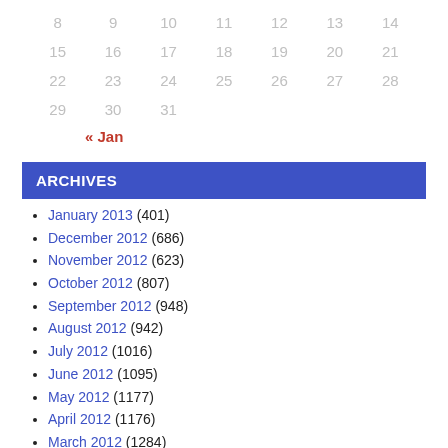| 8 | 9 | 10 | 11 | 12 | 13 | 14 |
| 15 | 16 | 17 | 18 | 19 | 20 | 21 |
| 22 | 23 | 24 | 25 | 26 | 27 | 28 |
| 29 | 30 | 31 |  |  |  |  |
« Jan
ARCHIVES
January 2013 (401)
December 2012 (686)
November 2012 (623)
October 2012 (807)
September 2012 (948)
August 2012 (942)
July 2012 (1016)
June 2012 (1095)
May 2012 (1177)
April 2012 (1176)
March 2012 (1284)